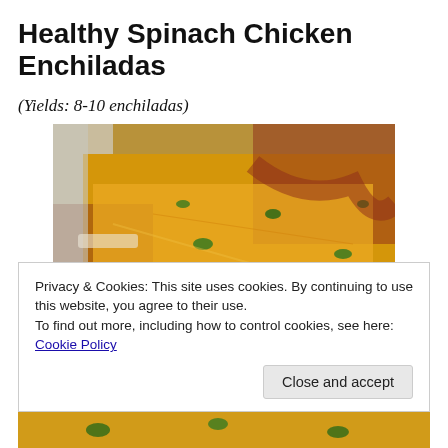Healthy Spinach Chicken Enchiladas
(Yields: 8-10 enchiladas)
[Figure (photo): A baking tray of spinach chicken enchiladas topped with shredded cheddar cheese, red enchilada sauce, and fresh cilantro leaves]
Privacy & Cookies: This site uses cookies. By continuing to use this website, you agree to their use.
To find out more, including how to control cookies, see here: Cookie Policy
[Figure (photo): Partial view of another tray of enchiladas at the bottom of the page]